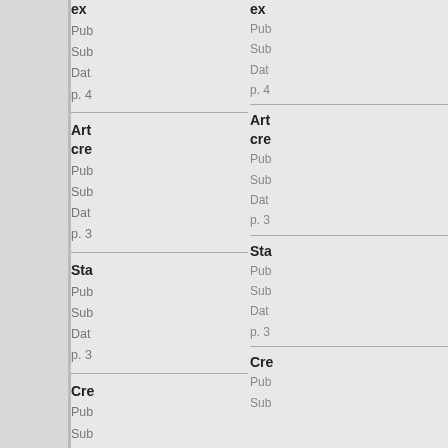ex...
Pub...
Sub...
Dat...
p. 4...
Art... cre...
Pub...
Sub...
Dat...
p. 3...
Sta...
Pub...
Sub...
Dat...
p. 3...
Cre...
Pub...
Sub...